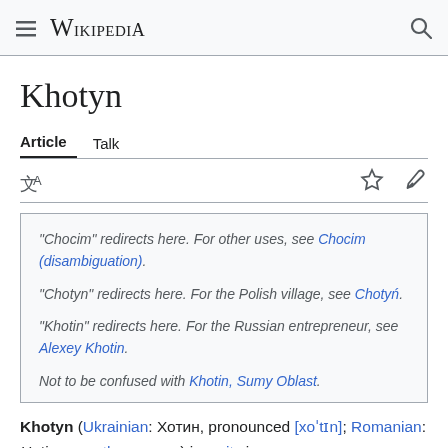Wikipedia
Khotyn
Article  Talk
"Chocim" redirects here. For other uses, see Chocim (disambiguation).
"Chotyn" redirects here. For the Polish village, see Chotyń.
"Khotin" redirects here. For the Russian entrepreneur, see Alexey Khotin.
Not to be confused with Khotin, Sumy Oblast.
Khotyn (Ukrainian: Хотин, pronounced [xoˈtɪn]; Romanian: Hotin; see other names) is a city in Bukovyna Raion, Chernivtsi Oblast, of western Ukraine.